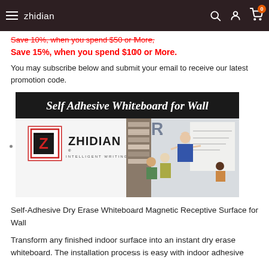zhidian
Save 10%, when you spend $50 or More. Save 15%, when you spend $100 or More.
You may subscribe below and submit your email to receive our latest promotion code.
[Figure (illustration): Self Adhesive Whiteboard for Wall product banner featuring ZHIDIAN logo on left side and office/classroom scene on right side with a person writing on a whiteboard while others observe.]
Self-Adhesive Dry Erase Whiteboard Magnetic Receptive Surface for Wall
Transform any finished indoor surface into an instant dry erase whiteboard. The installation process is easy with indoor adhesive